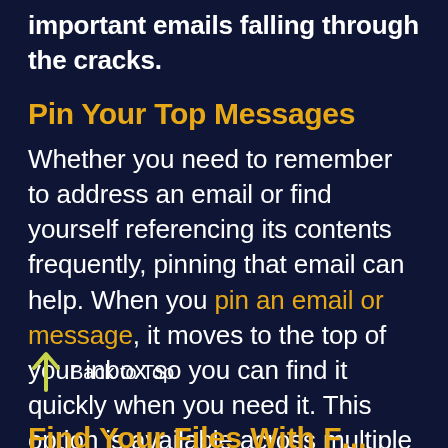important emails falling through the cracks.
Pin Your Top Messages
Whether you need to remember to address an email or find yourself referencing its contents frequently, pinning that email can help. When you pin an email or message, it moves to the top of your inbox so you can find it quickly when you need it. This option is available across multiple devices and OS options that have Outlook installed or use the web version.
Back to Top
Find Your Files With F...